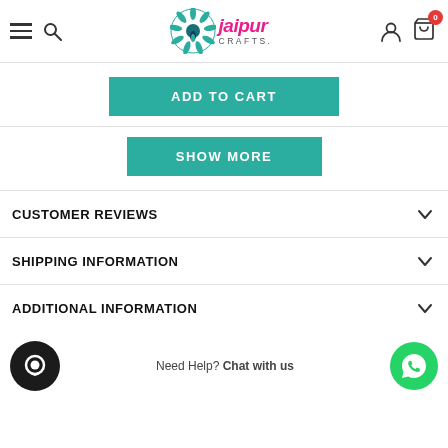Jaipur Crafts - navigation header with hamburger menu, search, logo, user icon, and cart (0)
ADD TO CART
SHOW MORE
CUSTOMER REVIEWS
SHIPPING INFORMATION
ADDITIONAL INFORMATION
Need Help? Chat with us